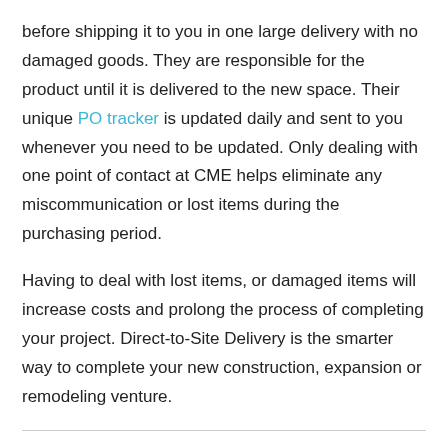before shipping it to you in one large delivery with no damaged goods.  They are responsible for the product until it is delivered to the new space.  Their unique PO tracker is updated daily and sent to you whenever you need to be updated. Only dealing with one point of contact at CME helps eliminate any miscommunication or lost items during the purchasing period.

Having to deal with lost items, or damaged items will increase costs and prolong the process of completing your project.  Direct-to-Site Delivery is the smarter way to complete your new construction, expansion or remodeling venture.
About CME: CME Corp is the nation's premier source for